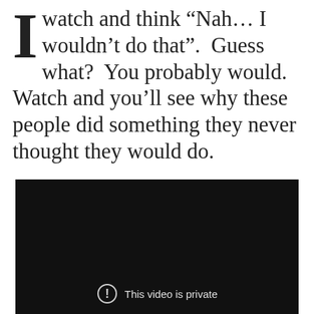I watch and think “Nah… I wouldn’t do that”.  Guess what?  You probably would. Watch and you’ll see why these people did something they never thought they would do.
[Figure (screenshot): Embedded video player showing a black screen with a circular exclamation icon and the text 'This video is private']